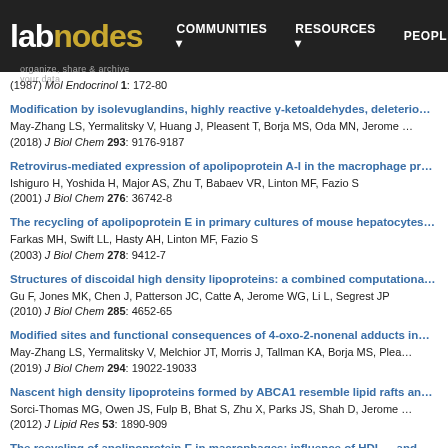labnodes — organize, share & archive your data | COMMUNITIES RESOURCES PEOPLE
(1987) Mol Endocrinol 1: 172-80
Modification by isolevuglandins, highly reactive γ-ketoaldehydes, deleterio… May-Zhang LS, Yermalitsky V, Huang J, Pleasent T, Borja MS, Oda MN, Jerome … (2018) J Biol Chem 293: 9176-9187
Retrovirus-mediated expression of apolipoprotein A-I in the macrophage pr… Ishiguro H, Yoshida H, Major AS, Zhu T, Babaev VR, Linton MF, Fazio S (2001) J Biol Chem 276: 36742-8
The recycling of apolipoprotein E in primary cultures of mouse hepatocytes… Farkas MH, Swift LL, Hasty AH, Linton MF, Fazio S (2003) J Biol Chem 278: 9412-7
Structures of discoidal high density lipoproteins: a combined computationa… Gu F, Jones MK, Chen J, Patterson JC, Catte A, Jerome WG, Li L, Segrest JP (2010) J Biol Chem 285: 4652-65
Modified sites and functional consequences of 4-oxo-2-nonenal adducts in… May-Zhang LS, Yermalitsky V, Melchior JT, Morris J, Tallman KA, Borja MS, Plea… (2019) J Biol Chem 294: 19022-19033
Nascent high density lipoproteins formed by ABCA1 resemble lipid rafts an… Sorci-Thomas MG, Owen JS, Fulp B, Bhat S, Zhu X, Parks JS, Shah D, Jerome … (2012) J Lipid Res 53: 1890-909
The recycling of apolipoprotein E in macrophages: influence of HDL… and a…